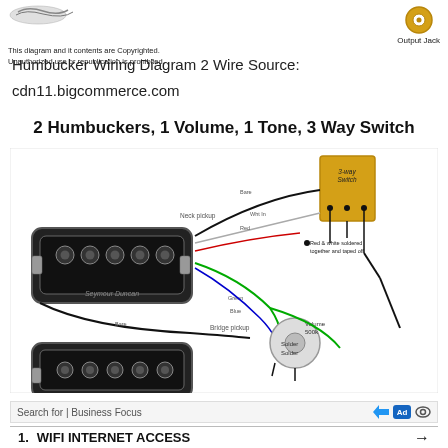[Figure (schematic): Copyright logo/watermark in top left corner with bird/rooster silhouette]
This diagram and it contents are Copyrighted. Unauthorized use or republication is prohibited.
[Figure (schematic): Output Jack component icon - circular donut shape in gold/orange color]
Output Jack
Humbucker Wiring Diagram 2 Wire Source:
cdn11.bigcommerce.com
2 Humbuckers, 1 Volume, 1 Tone, 3 Way Switch
[Figure (engineering-diagram): Wiring diagram showing 2 humbuckers (neck pickup and bridge pickup by Seymour Duncan), connected to a 3-way toggle switch, Volume 500k pot, and Tone pot. Wires colored black, red, white, green, bare. Labels: Neck pickup, Bridge pickup, Red & white soldered together and taped off, Volume 500k, Solder points.]
Search for | Business Focus
1.   WIFI INTERNET ACCESS →
[Figure (engineering-diagram): Partial wiring diagram showing bottom portion with labels: together and taped on, Ground wire from bridge, Tone 500k, For single-conductor humbuckers, Solder]